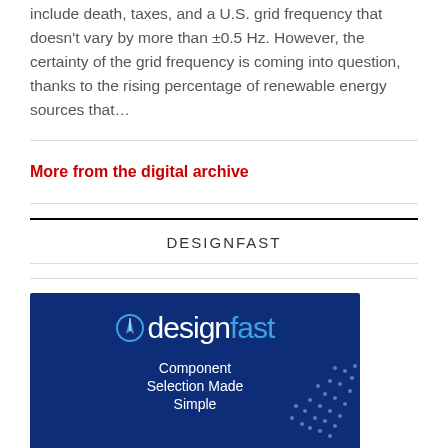include death, taxes, and a U.S. grid frequency that doesn't vary by more than ±0.5 Hz. However, the certainty of the grid frequency is coming into question, thanks to the rising percentage of renewable energy sources that…
More from the digital archive
DESIGNFAST
[Figure (logo): Designfast advertisement banner with dark blue background. Shows 'designfast' logo in white and blue text, with tagline 'Component Selection Made Simple' and a globe/sphere graphic made of dots in the bottom right corner.]